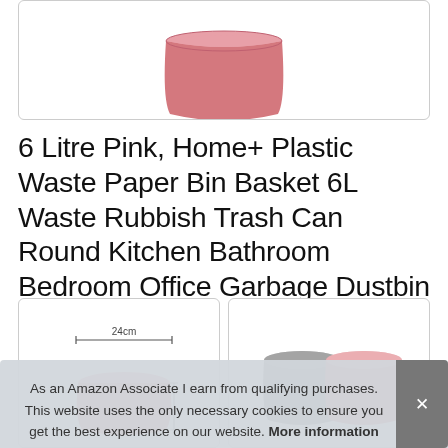[Figure (photo): Partial top view of a pink round plastic waste bin on white background, cropped at top]
6 Litre Pink, Home+ Plastic Waste Paper Bin Basket 6L Waste Rubbish Trash Can Round Kitchen Bathroom Bedroom Office Garbage Dustbin
[Figure (photo): Dimension diagram showing top view of pink waste bin with 24cm width measurement arrow]
[Figure (photo): Color variants showing gray and pink round waste bins side by side]
As an Amazon Associate I earn from qualifying purchases. This website uses the only necessary cookies to ensure you get the best experience on our website. More information